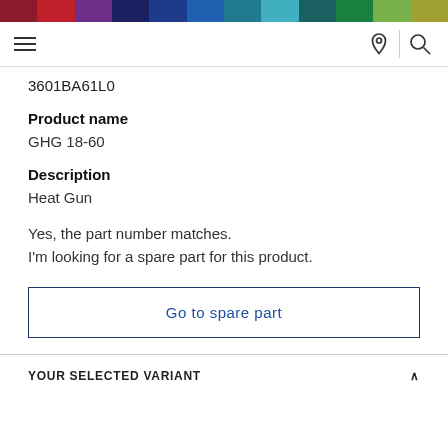[Figure (other): Multicolor horizontal bar at top of page with segments in dark red, red, purple, dark navy, navy, blue, teal, cyan, dark teal, green, light green, olive]
Navigation bar with hamburger menu icon, location pin icon, and search icon
3601BA61L0
Product name
GHG 18-60
Description
Heat Gun
Yes, the part number matches.
I'm looking for a spare part for this product.
Go to spare part
YOUR SELECTED VARIANT